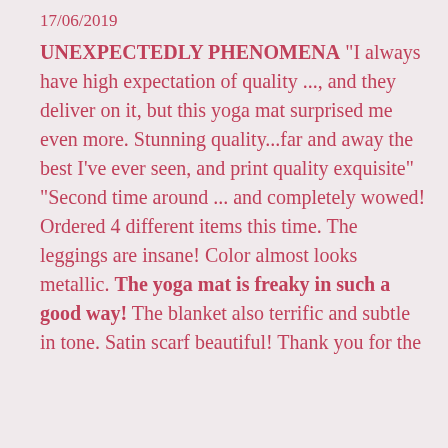17/06/2019
UNEXPECTEDLY PHENOMENA "I always have high expectation of quality  ..., and they deliver on it, but this yoga mat surprised me even more. Stunning quality...far and away the best I've ever seen, and print quality exquisite" "Second time around  ...  and completely wowed! Ordered 4 different items this time. The leggings are insane! Color almost looks metallic.  The yoga mat is freaky in such a good way!  The blanket also terrific and subtle in tone. Satin scarf beautiful! Thank you for the